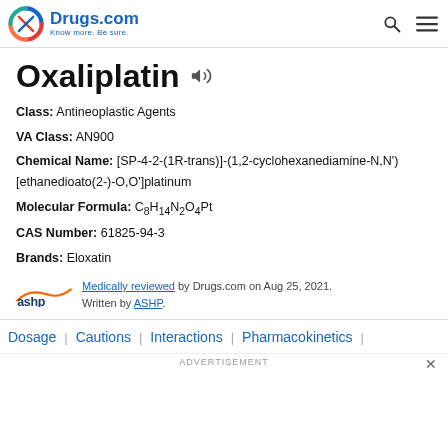Drugs.com — Know more. Be sure.
Oxaliplatin
Class: Antineoplastic Agents
VA Class: AN900
Chemical Name: [SP-4-2-(1R-trans)]-(1,2-cyclohexanediamine-N,N')[ethanedioato(2-)-O,O']platinum
Molecular Formula: C8H14N2O4Pt
CAS Number: 61825-94-3
Brands: Eloxatin
Medically reviewed by Drugs.com on Aug 25, 2021. Written by ASHP.
Dosage | Cautions | Interactions | Pharmacokinetics